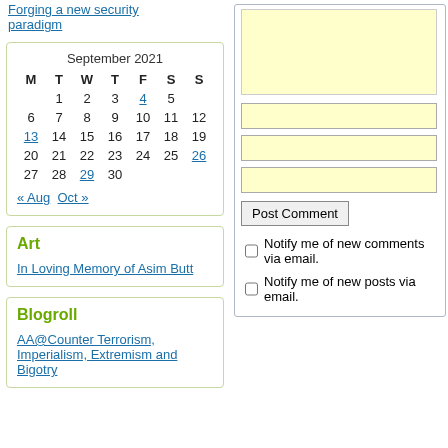Forging a new security paradigm
| M | T | W | T | F | S | S |
| --- | --- | --- | --- | --- | --- | --- |
|  | 1 | 2 | 3 | 4 | 5 |  |
| 6 | 7 | 8 | 9 | 10 | 11 | 12 |
| 13 | 14 | 15 | 16 | 17 | 18 | 19 |
| 20 | 21 | 22 | 23 | 24 | 25 | 26 |
| 27 | 28 | 29 | 30 |  |  |  |
« Aug   Oct »
Art
In Loving Memory of Asim Butt
Blogroll
AA@Counter Terrorism, Imperialism, Extremism and Bigotry
Post Comment
Notify me of new comments via email.
Notify me of new posts via email.